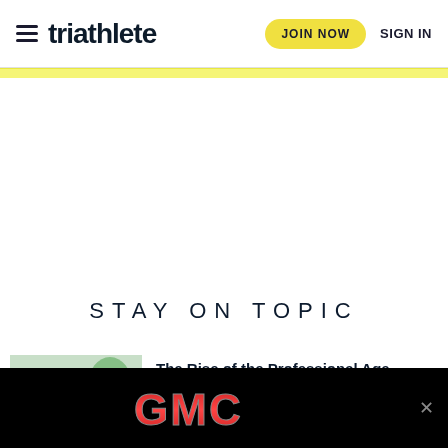triathlete — JOIN NOW   SIGN IN
STAY ON TOPIC
[Figure (photo): Triathlete athlete celebrating at finish line, wearing a cap and race bib, fists raised, with green balloons in background]
The Rise of the Professional Age-Grouper
[Figure (logo): GMC logo advertisement banner on black background with close button]